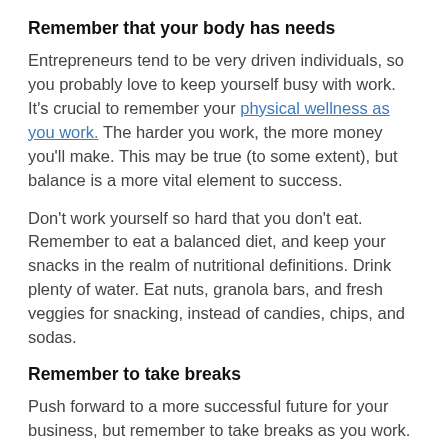Remember that your body has needs
Entrepreneurs tend to be very driven individuals, so you probably love to keep yourself busy with work.  It's crucial to remember your physical wellness as you work.  The harder you work, the more money you'll make.  This may be true (to some extent), but balance is a more vital element to success.
Don't work yourself so hard that you don't eat.  Remember to eat a balanced diet, and keep your snacks in the realm of nutritional definitions.  Drink plenty of water. Eat nuts, granola bars, and fresh veggies for snacking, instead of candies, chips, and sodas.
Remember to take breaks
Push forward to a more successful future for your business, but remember to take breaks as you work.